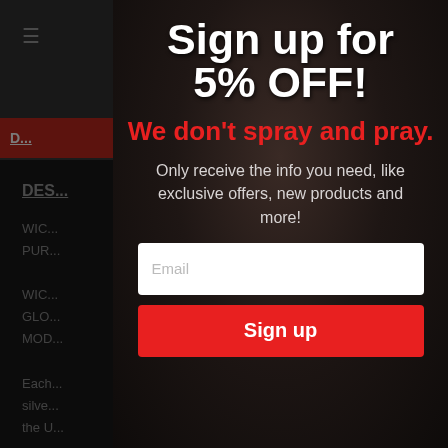[Figure (screenshot): Website background showing Wicked Grips website partially visible behind modal overlay, with hamburger menu, logo, red navigation bar with FAQ link, and partial product description text.]
Sign up for 5% OFF!
We don't spray and pray.
Only receive the info you need, like exclusive offers, new products and more!
Email
Sign up